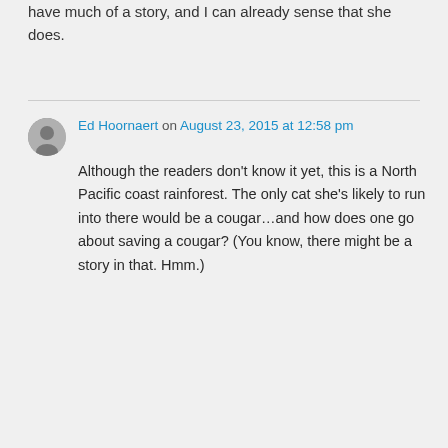have much of a story, and I can already sense that she does.
Ed Hoornaert on August 23, 2015 at 12:58 pm

Although the readers don't know it yet, this is a North Pacific coast rainforest. The only cat she's likely to run into there would be a cougar...and how does one go about saving a cougar? (You know, there might be a story in that. Hmm.)